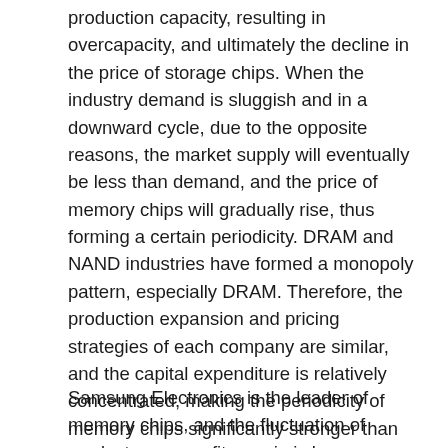production capacity, resulting in overcapacity, and ultimately the decline in the price of storage chips. When the industry demand is sluggish and in a downward cycle, due to the opposite reasons, the market supply will eventually be less than demand, and the price of memory chips will gradually rise, thus forming a certain periodicity. DRAM and NAND industries have formed a monopoly pattern, especially DRAM. Therefore, the production expansion and pricing strategies of each company are similar, and the capital expenditure is relatively concentrated, making the periodicity of memory chips significantly stronger than that of other semiconductor categories. Take Meguiar and SK Hynix as examples. Within 1-3 years after each round of large-scale capital expenditure, the products enter the price reduction cycle, and the gross profit margin decreases.
Samsung Electronics is the leader of memory chips, and the fluctuation of product gross profit margin is less